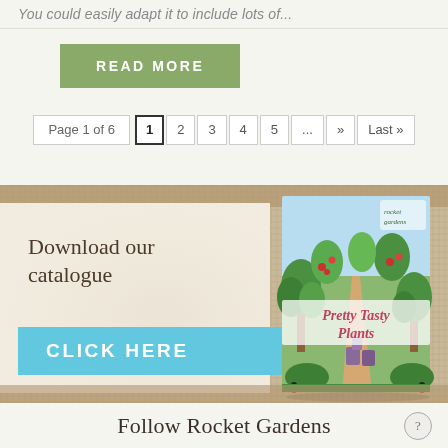You could easily adapt it to include lots of...
READ MORE
Page 1 of 6  1  2  3  4  5  ...  »  Last »
Download our catalogue
CLICK HERE
[Figure (illustration): Rocket Gardens catalogue cover titled 'Pretty Tasty Plants' showing an illustrated garden with trees, plants, a path, and vegetables]
Follow Rocket Gardens